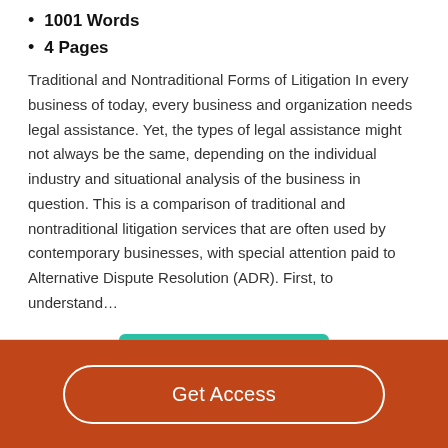1001 Words
4 Pages
Traditional and Nontraditional Forms of Litigation In every business of today, every business and organization needs legal assistance. Yet, the types of legal assistance might not always be the same, depending on the individual industry and situational analysis of the business in question. This is a comparison of traditional and nontraditional litigation services that are often used by contemporary businesses, with special attention paid to Alternative Dispute Resolution (ADR). First, to understand…
Read More
Get Access